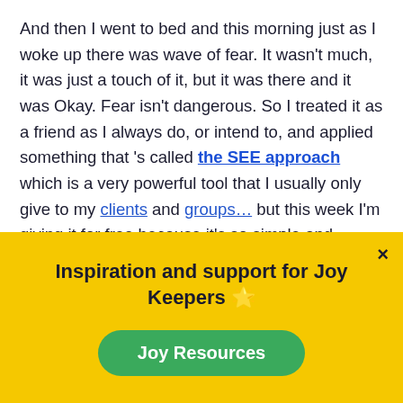And then I went to bed and this morning just as I woke up there was wave of fear. It wasn't much, it was just a touch of it, but it was there and it was Okay. Fear isn't dangerous. So I treated it as a friend as I always do, or intend to, and applied something that 's called the SEE approach which is a very powerful tool that I usually only give to my clients and groups… but this week I'm giving it for free because it's so simple and powerful and such a good way to meet fear and whatever else is coming our way.
So, I did that, it took maybe half a minute and then I
[Figure (infographic): Yellow overlay popup box with title 'Inspiration and support for Joy Keepers 🌟', a close (×) button in top right, and a green rounded button labeled 'Joy Resources']